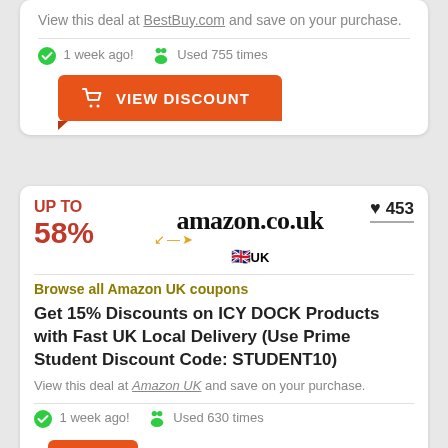View this deal at BestBuy.com and save on your purchase.
1 week ago! Used 755 times
VIEW DISCOUNT
UP TO
58%
453
[Figure (logo): Amazon.co.uk logo with UK flag]
Browse all Amazon UK coupons
Get 15% Discounts on ICY DOCK Products with Fast UK Local Delivery (Use Prime Student Discount Code: STUDENT10)
View this deal at Amazon UK and save on your purchase.
1 week ago! Used 630 times